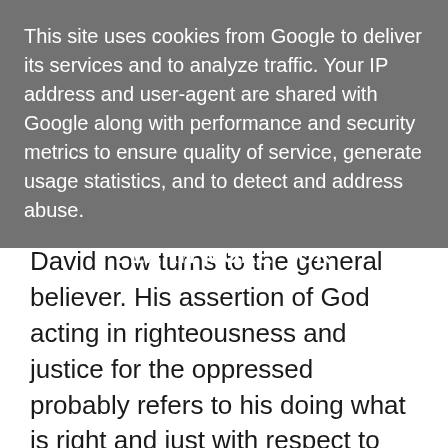This site uses cookies from Google to deliver its services and to analyze traffic. Your IP address and user-agent are shared with Google along with performance and security metrics to ensure quality of service, generate usage statistics, and to detect and address abuse.
LEARN MORE    OK
David now turns to the general believer. His assertion of God acting in righteousness and justice for the oppressed probably refers to his doing what is right and just with respect to his covenant with Israel (103v17-18). So